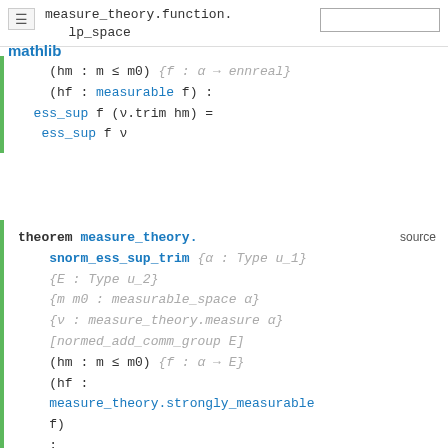measure_theory.function.lp_space
(hm : m ≤ m0) {f : α → ennreal}
(hf : measurable f) :
ess_sup f (ν.trim hm) =
  ess_sup f ν
theorem measure_theory.snorm_ess_sup_trim {α : Type u_1}
{E : Type u_2}
{m m0 : measurable_space α}
{ν : measure_theory.measure α}
[normed_add_comm_group E]
(hm : m ≤ m0) {f : α → E}
(hf :
measure_theory.strongly_measurable
f)
:
measure_theory.snorm_ess_sup f